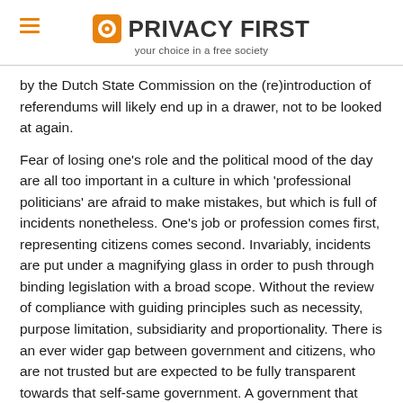PRIVACY FIRST — your choice in a free society
by the Dutch State Commission on the (re)introduction of referendums will likely end up in a drawer, not to be looked at again.
Fear of losing one's role and the political mood of the day are all too important in a culture in which 'professional politicians' are afraid to make mistakes, but which is full of incidents nonetheless. One's job or profession comes first, representing citizens comes second. Invariably, incidents are put under a magnifying glass in order to push through binding legislation with a broad scope. Without the review of compliance with guiding principles such as necessity, purpose limitation, subsidiarity and proportionality. There is an ever wider gap between government and citizens, who are not trusted but are expected to be fully transparent towards that self-same government. A government that time and again appears to be concealing matters from citizens. A government that is required by law to protect and